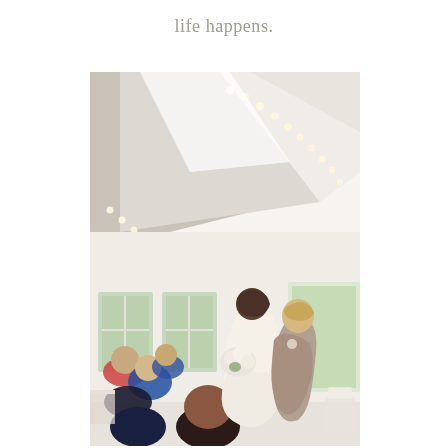life happens.
[Figure (photo): Wedding reception photo showing a bride in a white lace gown holding a bouquet of white flowers and a groom in a tan suit entering a bright white venue with string lights along the ceiling beams, surrounded by applauding guests seated at tables.]